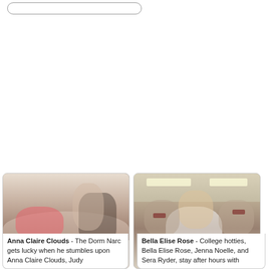[Figure (other): Search bar / input field at top of page]
[Figure (photo): Photo showing adult content scene on a bed - left card image]
Anna Claire Clouds - The Dorm Narc gets lucky when he stumbles upon Anna Claire Clouds, Judy
[Figure (photo): Photo showing adult content scene in a classroom - right card image]
Bella Elise Rose - College hotties, Bella Elise Rose, Jenna Noelle, and Sera Ryder, stay after hours with